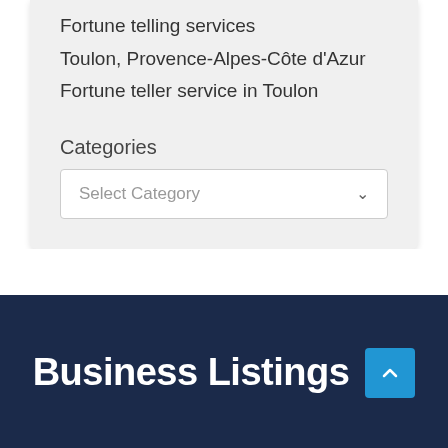Fortune telling services
Toulon, Provence-Alpes-Côte d'Azur
Fortune teller service in Toulon
Categories
Select Category
Business Listings